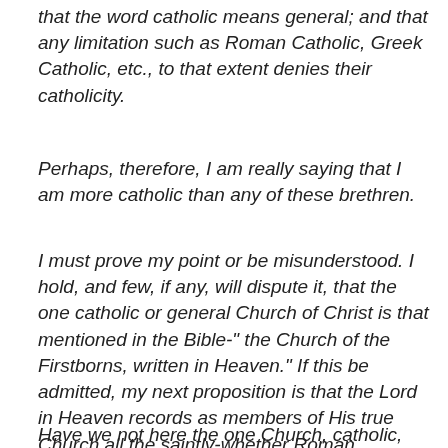that the word catholic means general; and that any limitation such as Roman Catholic, Greek Catholic, etc., to that extent denies their catholicity.
Perhaps, therefore, I am really saying that I am more catholic than any of these brethren.
I must prove my point or be misunderstood. I hold, and few, if any, will dispute it, that the one catholic or general Church of Christ is that mentioned in the Bible-" the Church of the Firstborns, written in Heaven." If this be admitted, my next proposition is that the Lord in Heaven records as members of His true Church all the saintly-whether Roman Catholics, Anglican Catholics, Greek Catholics, Baptists, Methodists, or Presbyterians, etc.-and none others.
Have we not here the one Church, catholic, universal, the